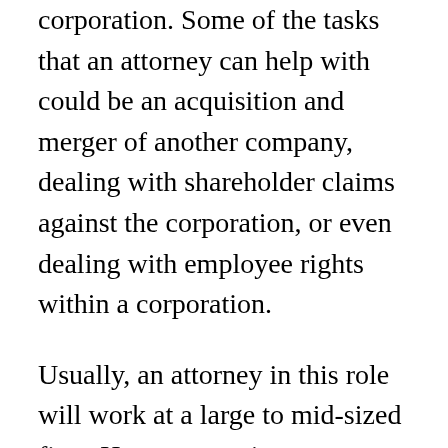corporation. Some of the tasks that an attorney can help with could be an acquisition and merger of another company, dealing with shareholder claims against the corporation, or even dealing with employee rights within a corporation.
Usually, an attorney in this role will work at a large to mid-sized firm. However, at times corporate attorneys will come from small firms with few attorneys. No matter what size firm the attorney is located, there may be different corporate specialties for each